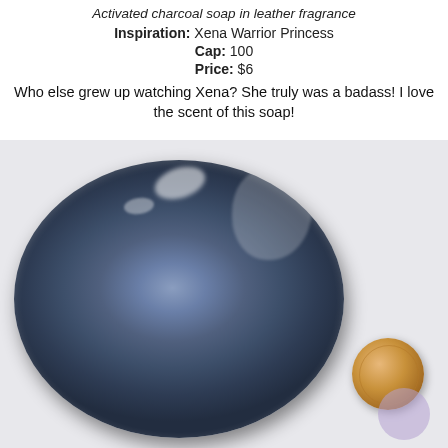Activated charcoal soap in leather fragrance
Inspiration: Xena Warrior Princess
Cap: 100
Price: $6
Who else grew up watching Xena? She truly was a badass! I love the scent of this soap!
[Figure (photo): Top-down photo of a round dark blue charcoal soap bar wrapped in clear plastic, next to a penny for size reference, on a light background.]